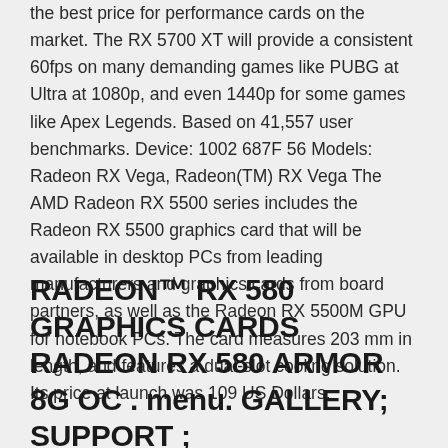the best price for performance cards on the market. The RX 5700 XT will provide a consistent 60fps on many demanding games like PUBG at Ultra at 1080p, and even 1440p for some games like Apex Legends. Based on 41,557 user benchmarks. Device: 1002 687F 56 Models: Radeon RX Vega, Radeon(TM) RX Vega The AMD Radeon RX 5500 series includes the Radeon RX 5500 graphics card that will be available in desktop PCs from leading manufacturers and graphics cards from board partners, as well as the Radeon RX 5500M GPU for notebook PCs. The card measures 203 mm in length, and features a dual-slot cooling solution. Its price at launch was 109 US Dollars.
RADEON™ RX 580 GRAPHICS CARDS RADEON RX 580 ARMOR 8G OC . menu. GALLERY; SUPPORT ;